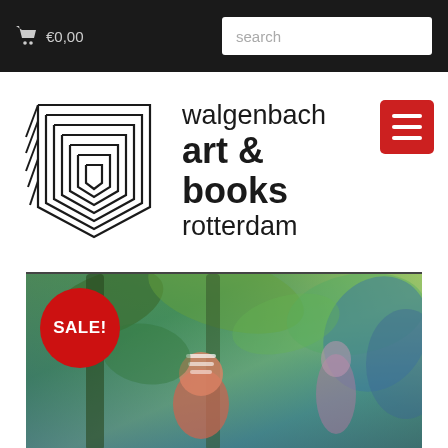🛒 €0,00  search
[Figure (logo): Walgenbach Art & Books Rotterdam logo with geometric chevron/W mark on the left and text on the right]
[Figure (photo): Painting featuring colorful figures amid lush vegetation, with a SALE! badge overlaid in red circle]